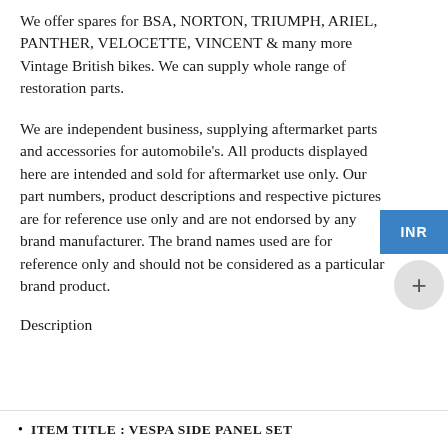We offer spares for BSA, NORTON, TRIUMPH, ARIEL, PANTHER, VELOCETTE, VINCENT & many more Vintage British bikes. We can supply whole range of restoration parts.
We are independent business, supplying aftermarket parts and accessories for automobile's. All products displayed here are intended and sold for aftermarket use only. Our part numbers, product descriptions and respective pictures are for reference use only and are not endorsed by any brand manufacturer. The brand names used are for reference only and should not be considered as a particular brand product.
Description
ITEM TITLE: VESPA SIDE PANEL SET